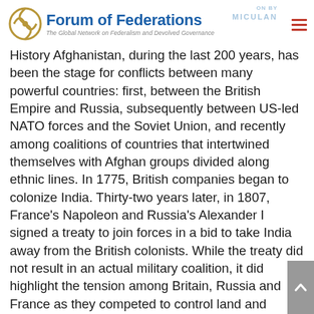Forum of Federations — The Global Network on Federalism and Devolved Governance
History Afghanistan, during the last 200 years, has been the stage for conflicts between many powerful countries: first, between the British Empire and Russia, subsequently between US-led NATO forces and the Soviet Union, and recently among coalitions of countries that intertwined themselves with Afghan groups divided along ethnic lines. In 1775, British companies began to colonize India. Thirty-two years later, in 1807, France's Napoleon and Russia's Alexander I signed a treaty to join forces in a bid to take India away from the British colonists. While the treaty did not result in an actual military coalition, it did highlight the tension among Britain, Russia and France as they competed to control land and further their economic interests in and around Afghanistan. In 1837, a Russia